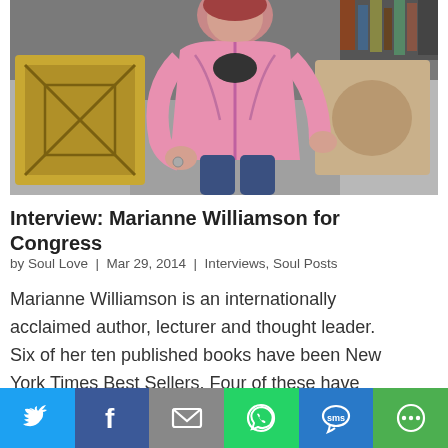[Figure (photo): Person wearing a pink jacket sitting on a grey couch with patterned pillows]
Interview: Marianne Williamson for Congress
by Soul Love  |  Mar 29, 2014  |  Interviews, Soul Posts
Marianne Williamson is an internationally acclaimed author, lecturer and thought leader. Six of her ten published books have been New York Times Best Sellers. Four of these have been #1 New York Times Best Sellers. In 1997, she published Healing the
Share buttons: Twitter, Facebook, Email, WhatsApp, SMS, More